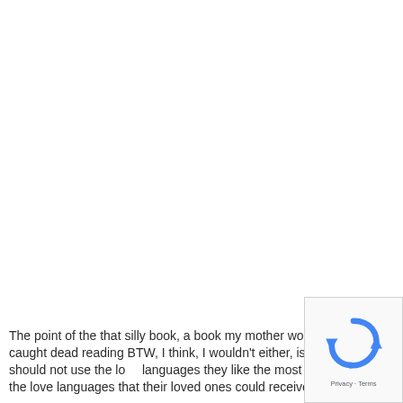The point of the that silly book, a book my mother wouldn't be caught dead reading BTW, I think, I wouldn't either, is that people should not use the love languages they like the most but rather the love languages that their loved ones could receive